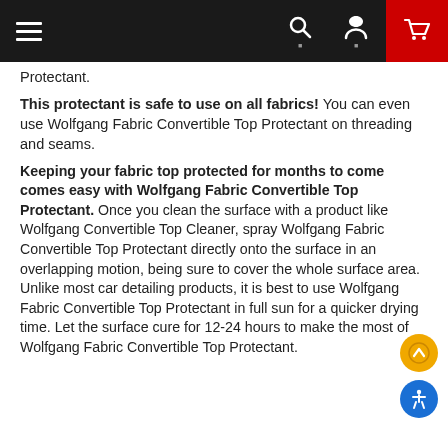Navigation bar with hamburger menu, search, account, and cart icons
Protectant.
This protectant is safe to use on all fabrics! You can even use Wolfgang Fabric Convertible Top Protectant on threading and seams.
Keeping your fabric top protected for months to come comes easy with Wolfgang Fabric Convertible Top Protectant. Once you clean the surface with a product like Wolfgang Convertible Top Cleaner, spray Wolfgang Fabric Convertible Top Protectant directly onto the surface in an overlapping motion, being sure to cover the whole surface area. Unlike most car detailing products, it is best to use Wolfgang Fabric Convertible Top Protectant in full sun for a quicker drying time. Let the surface cure for 12-24 hours to make the most of Wolfgang Fabric Convertible Top Protectant.